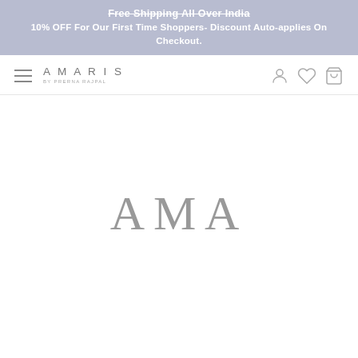Free Shipping All Over India
10% OFF For Our First Time Shoppers- Discount Auto-applies On Checkout.
[Figure (logo): Amaris by Prerna Rajpal brand logo with hamburger menu icon and navigation icons (user, heart, shopping bag)]
AMA